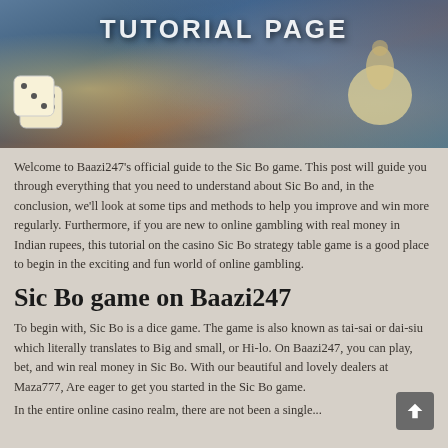[Figure (illustration): Banner image with 'TUTORIAL PAGE' text overlay, showing dice and a bag of money on a textured background with blue and warm tones.]
Welcome to Baazi247's official guide to the Sic Bo game. This post will guide you through everything that you need to understand about Sic Bo and, in the conclusion, we'll look at some tips and methods to help you improve and win more regularly. Furthermore, if you are new to online gambling with real money in Indian rupees, this tutorial on the casino Sic Bo strategy table game is a good place to begin in the exciting and fun world of online gambling.
Sic Bo game on Baazi247
To begin with, Sic Bo is a dice game. The game is also known as tai-sai or dai-siu which literally translates to Big and small, or Hi-lo. On Baazi247, you can play, bet, and win real money in Sic Bo. With our beautiful and lovely dealers at Maza777, Are eager to get you started in the Sic Bo game.
In the entire online casino realm, there are not been a single...